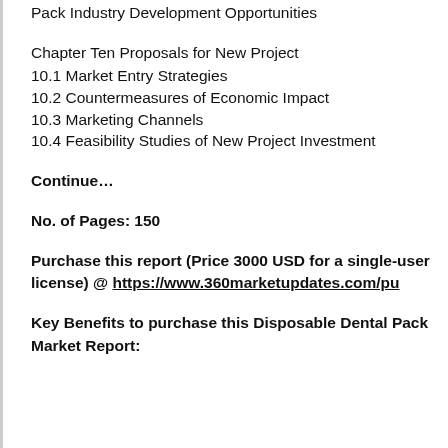Pack Industry Development Opportunities
Chapter Ten Proposals for New Project
10.1 Market Entry Strategies
10.2 Countermeasures of Economic Impact
10.3 Marketing Channels
10.4 Feasibility Studies of New Project Investment
Continue…
No. of Pages: 150
Purchase this report (Price 3000 USD for a single-user license) @ https://www.360marketupdates.com/pu…
Key Benefits to purchase this Disposable Dental Pack Market Report: